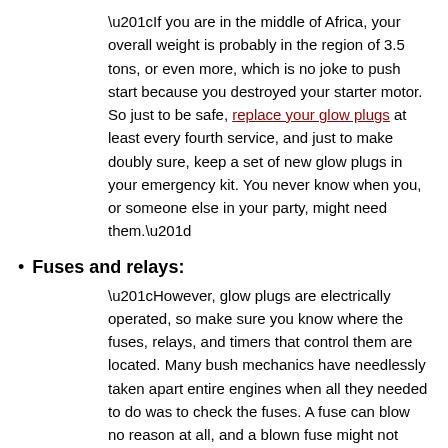“If you are in the middle of Africa, your overall weight is probably in the region of 3.5 tons, or even more, which is no joke to push start because you destroyed your starter motor. So just to be safe, replace your glow plugs at least every fourth service, and just to make doubly sure, keep a set of new glow plugs in your emergency kit. You never know when you, or someone else in your party, might need them.”
Fuses and relays:
“However, glow plugs are electrically operated, so make sure you know where the fuses, relays, and timers that control them are located. Many bush mechanics have needlessly taken apart entire engines when all they needed to do was to check the fuses. A fuse can blow no reason at all, and a blown fuse might not ssarily indicate a problem of some kind, but if you suspect you might have an electrical problem, the first